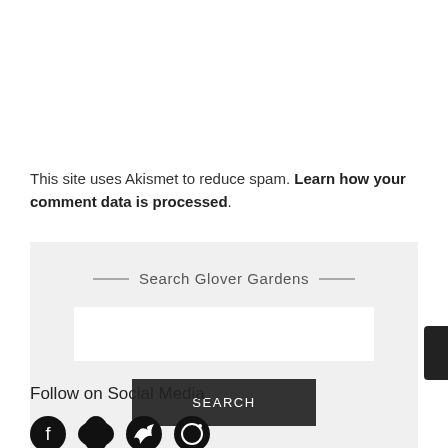This site uses Akismet to reduce spam. Learn how your comment data is processed.
Search Glover Gardens
Follow on Social Media